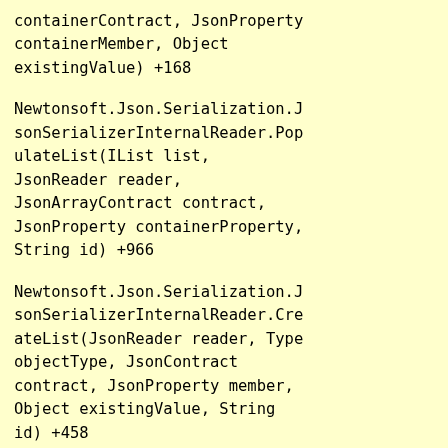containerContract, JsonProperty containerMember, Object existingValue) +168
Newtonsoft.Json.Serialization.JsonSerializerInternalReader.PopulateList(IList list, JsonReader reader, JsonArrayContract contract, JsonProperty containerProperty, String id) +966
Newtonsoft.Json.Serialization.JsonSerializerInternalReader.CreateList(JsonReader reader, Type objectType, JsonContract contract, JsonProperty member, Object existingValue, String id) +458
Newtonsoft.Json.Serialization.JsonSerializerInternalReader.CreateValueInternal(JsonReader reader, Type objectType,